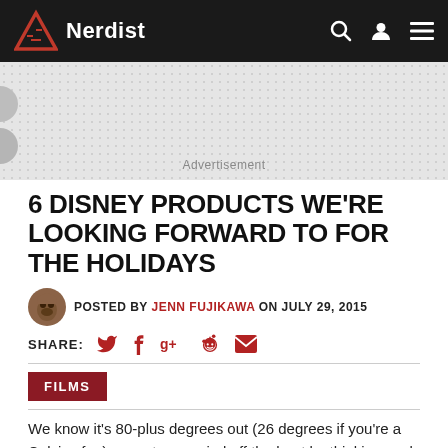Nerdist
[Figure (other): Advertisement placeholder area with dotted gray background]
Advertisement
6 DISNEY PRODUCTS WE'RE LOOKING FORWARD TO FOR THE HOLIDAYS
POSTED BY JENN FUJIKAWA ON JULY 29, 2015
SHARE: [Twitter] [Facebook] [Google+] [Reddit] [Email]
FILMS
We know it's 80-plus degrees out (26 degrees if you're a Celsius fan), so get your mind off the heat by thinking cool —